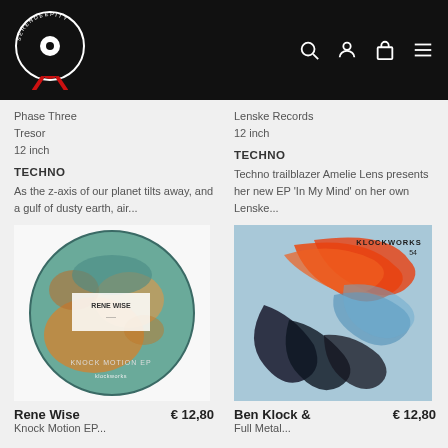[Figure (logo): Serendeepity record store logo — white circular text on black background with a vinyl record center and red ribbon/award design]
Phase Three
Tresor
12 inch
TECHNO
As the z-axis of our planet tilts away, and a gulf of dusty earth, air...
Lenske Records
12 inch
TECHNO
Techno trailblazer Amelie Lens presents her new EP 'In My Mind' on her own Lenske...
[Figure (photo): Rene Wise - Knock Motion EP vinyl record label artwork showing a circular map/globe with teal and brown tones]
[Figure (photo): Klockworks 54 album cover with orange and blue abstract brushstroke artwork on light blue background]
Rene Wise
€ 12,80
Ben Klock &
€ 12,80